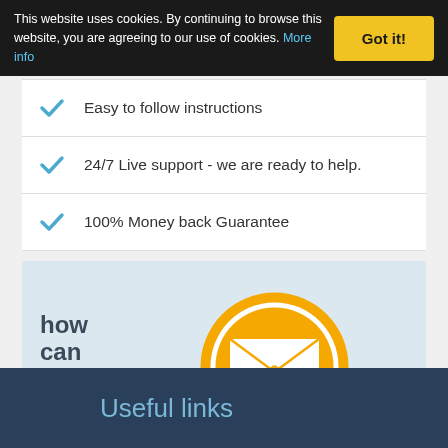This website uses cookies. By continuing to browse this website, you are agreeing to our use of cookies. More info
Easy to follow instructions
24/7 Live support - we are ready to help.
100% Money back Guarantee
[Figure (infographic): Light blue box with 'how can we help?' text on the left and a large orange email/envelope icon circle on the right]
Useful links